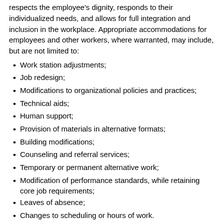respects the employee's dignity, responds to their individualized needs, and allows for full integration and inclusion in the workplace. Appropriate accommodations for employees and other workers, where warranted, may include, but are not limited to:
Work station adjustments;
Job redesign;
Modifications to organizational policies and practices;
Technical aids;
Human support;
Provision of materials in alternative formats;
Building modifications;
Counseling and referral services;
Temporary or permanent alternative work;
Modification of performance standards, while retaining core job requirements;
Leaves of absence;
Changes to scheduling or hours of work.
A. Privacy and Confidentiality Related to Accommodation
The Service will maintain the confidentiality of information related to an accommodation request,